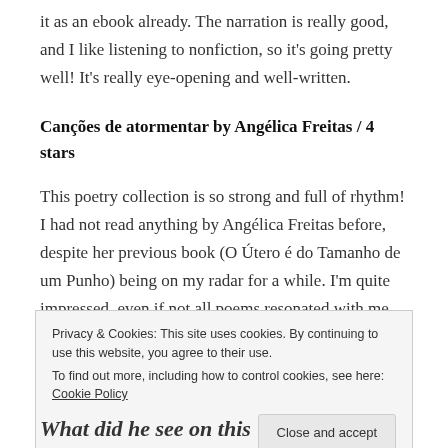it as an ebook already. The narration is really good, and I like listening to nonfiction, so it's going pretty well! It's really eye-opening and well-written.
Canções de atormentar by Angélica Freitas / 4 stars
This poetry collection is so strong and full of rhythm! I had not read anything by Angélica Freitas before, despite her previous book (O Útero é do Tamanho de um Punho) being on my radar for a while. I'm quite impressed, even if not all poems resonated with me (I'm not a big poetry person, in any case). I added two of her
Privacy & Cookies: This site uses cookies. By continuing to use this website, you agree to their use.
To find out more, including how to control cookies, see here: Cookie Policy
Close and accept
What did he see on this